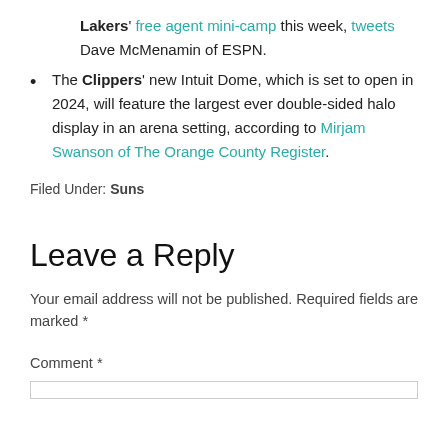Lakers' free agent mini-camp this week, tweets Dave McMenamin of ESPN.
The Clippers' new Intuit Dome, which is set to open in 2024, will feature the largest ever double-sided halo display in an arena setting, according to Mirjam Swanson of The Orange County Register.
Filed Under: Suns
Leave a Reply
Your email address will not be published. Required fields are marked *
Comment *